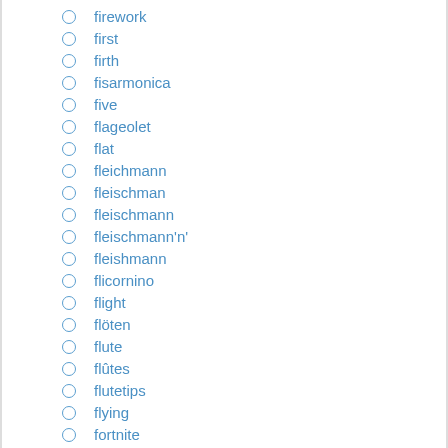firework
first
firth
fisarmonica
five
flageolet
flat
fleichmann
fleischman
fleischmann
fleischmann'n'
fleishmann
flicornino
flight
flöten
flute
flûtes
flutetips
flying
fortnite